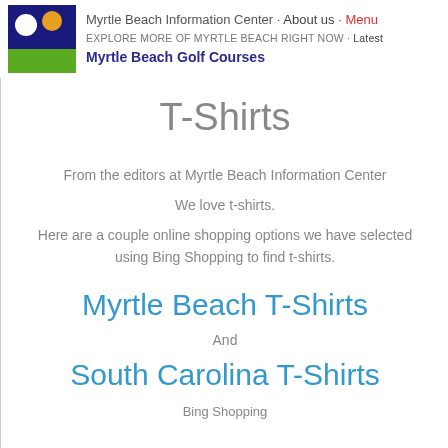Myrtle Beach Information Center · About us · Menu
EXPLORE MORE OF MYRTLE BEACH RIGHT NOW · Latest
Myrtle Beach Golf Courses
T-Shirts
From the editors at Myrtle Beach Information Center
We love t-shirts.
Here are a couple online shopping options we have selected using Bing Shopping to find t-shirts.
Myrtle Beach T-Shirts
And
South Carolina T-Shirts
Bing Shopping